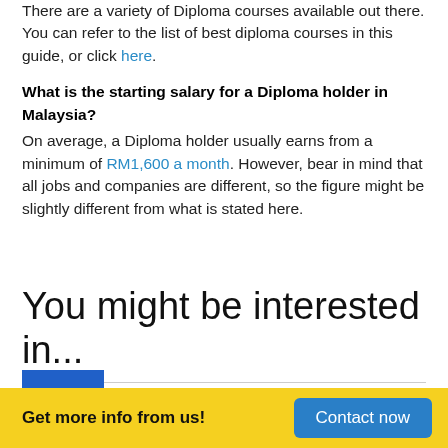There are a variety of Diploma courses available out there. You can refer to the list of best diploma courses in this guide, or click here.
What is the starting salary for a Diploma holder in Malaysia?
On average, a Diploma holder usually earns from a minimum of RM1,600 a month. However, bear in mind that all jobs and companies are different, so the figure might be slightly different from what is stated here.
You might be interested in...
MBA Courses in Malaysia
Get more info from us!
Diploma in Early Childhood Education in